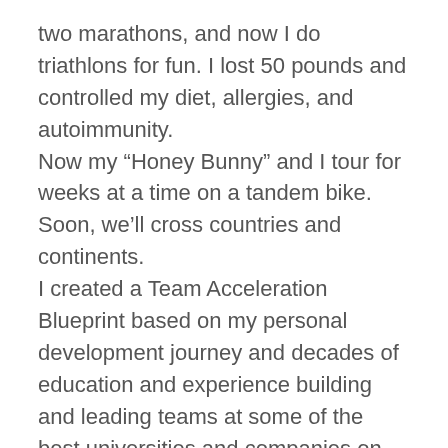two marathons, and now I do triathlons for fun. I lost 50 pounds and controlled my diet, allergies, and autoimmunity. Now my “Honey Bunny” and I tour for weeks at a time on a tandem bike. Soon, we’ll cross countries and continents. I created a Team Acceleration Blueprint based on my personal development journey and decades of education and experience building and leading teams at some of the best universities and companies on the planet. I believe the world can work for everyone. It starts with clarity of purpose, fantastic relationships, and high-performing teams. I